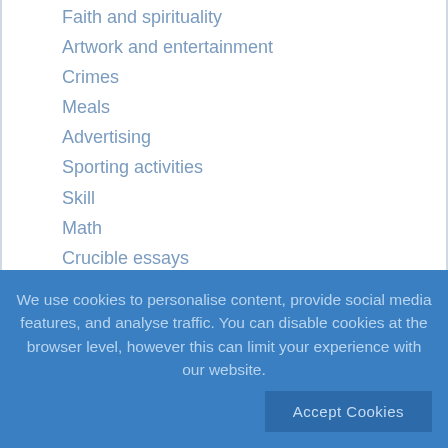Faith and spirituality
Artwork and entertainment
Crimes
Meals
Advertising
Sporting activities
Skill
Math
Crucible essays
Children essays
Africa essays
Essays
We use cookies to personalise content, provide social media features, and analyse traffic. You can disable cookies at the browser level, however this can limit your experience with our website.